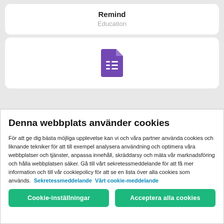Remind
Education
[Figure (logo): Google Forms purple icon with list lines]
Denna webbplats använder cookies
För att ge dig bästa möjliga upplevelse kan vi och våra partner använda cookies och liknande tekniker för att till exempel analysera användning och optimera våra webbplatser och tjänster, anpassa innehåll, skräddarsy och mäta vår marknadsföring och hålla webbplatsen säker. Gå till vårt sekretessmeddelande för att få mer information och till vår cookiepolicy för att se en lista över alla cookies som används.  Sekretessmeddelande  Vårt cookie-meddelande
Cookie-inställningar
Acceptera alla cookies